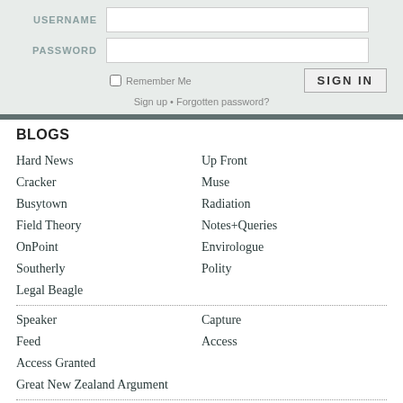USERNAME
PASSWORD
Remember Me
SIGN IN
Sign up • Forgotten password?
BLOGS
Hard News
Up Front
Cracker
Muse
Busytown
Radiation
Field Theory
Notes+Queries
OnPoint
Envirologue
Southerly
Polity
Legal Beagle
Speaker
Capture
Feed
Access
Access Granted
Great New Zealand Argument
PA.System
PA.Radio